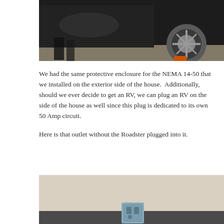[Figure (photo): Top portion of a dark car (likely Tesla Roadster) showing the lower door panel and wheel area on a light-colored floor]
We had the same protective enclosure for the NEMA 14-50 that we installed on the exterior side of the house.  Additionally, should we ever decide to get an RV, we can plug an RV on the side of the house as well since this plug is dedicated to its own 50 Amp circuit.
Here is that outlet without the Roadster plugged into it.
[Figure (photo): A NEMA 14-50 outdoor outlet mounted on the exterior wall of a house, shown without any plug connected to it]